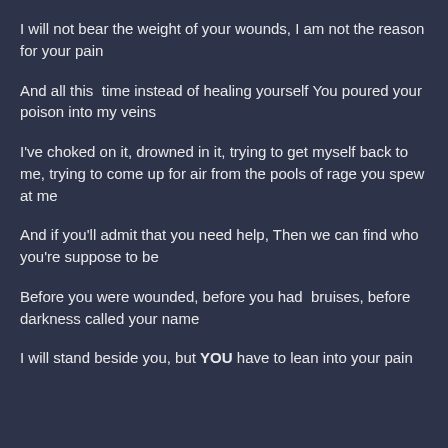I will not bear the weight of your wounds, I am not the reason for your pain
And all this  time instead of healing yourself You poured your poison into my veins
I've choked on it, drowned in it, trying to get myself back to me, trying to come up for air from the pools of rage you spew at me
And if you'll admit that you need help, Then we can find who you're suppose to be
Before you were wounded, before you had bruises, before darkness called your name
I will stand beside you, but YOU have to lean into your pain